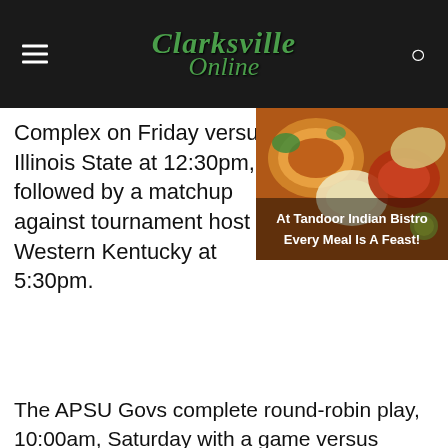Clarksville Online
Complex on Friday versus Illinois State at 12:30pm, followed by a matchup against tournament host Western Kentucky at 5:30pm.
[Figure (photo): Advertisement for Tandoor Indian Bistro showing various Indian dishes with text overlay: At Tandoor Indian Bistro Every Meal Is A Feast!]
The APSU Govs complete round-robin play, 10:00am, Saturday with a game versus IUPUI, with their second game of the day's opponent and start time depending on their seed, with the No. 1 seed taking No. the No. 4 seed, at 3:00pm, and the 2 and 3 seeded team playing at 5:30pm.